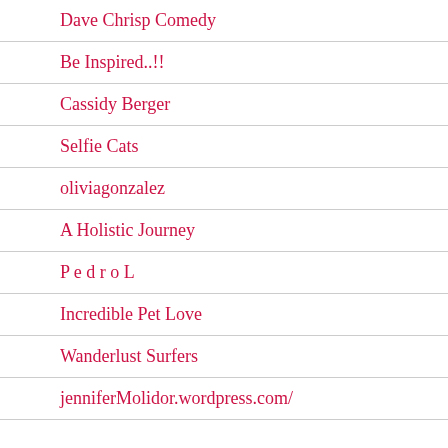Dave Chrisp Comedy
Be Inspired..!!
Cassidy Berger
Selfie Cats
oliviagonzalez
A Holistic Journey
P e d r o L
Incredible Pet Love
Wanderlust Surfers
jenniferMolidor.wordpress.com/